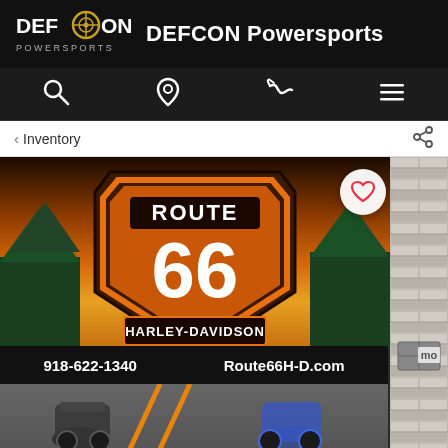DEFCON Powersports
< Inventory
[Figure (screenshot): Route 66 Harley-Davidson dealership promotional image showing a road leading into a sunset with the Route 66 shield logo, phone number 918-622-1340 and website Route66H-D.com, plus a blue motorcycle in the lower portion]